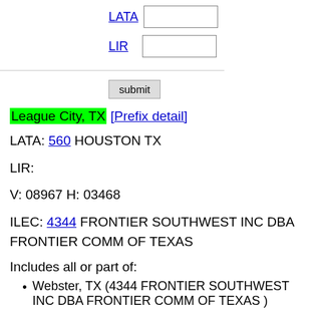LATA [input field]
LIR [input field]
submit
League City, TX [Prefix detail]
LATA: 560 HOUSTON TX
LIR:
V: 08967 H: 03468
ILEC: 4344 FRONTIER SOUTHWEST INC DBA FRONTIER COMM OF TEXAS
Includes all or part of:
Webster, TX (4344 FRONTIER SOUTHWEST INC DBA FRONTIER COMM OF TEXAS )